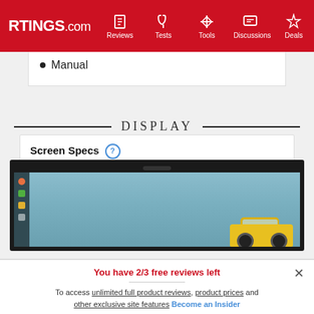RTINGS.com — Reviews, Tests, Tools, Discussions, Deals
Manual
DISPLAY
Screen Specs
[Figure (photo): Monitor displaying a desktop with a yellow taxi cab against a blue textured wall background]
You have 2/3 free reviews left
To access unlimited full product reviews, product prices and other exclusive site features Become an Insider